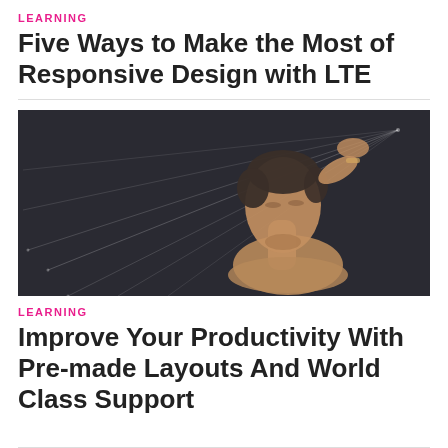LEARNING
Five Ways to Make the Most of Responsive Design with LTE
[Figure (photo): Fashion photo of a woman with short hair posed dramatically against a dark background with geometric white lines radiating from the upper right corner]
LEARNING
Improve Your Productivity With Pre-made Layouts And World Class Support